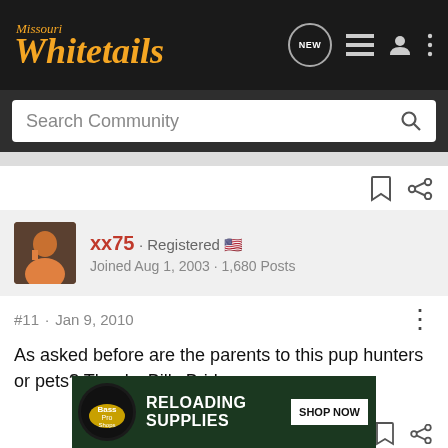[Figure (logo): Missouri Whitetails forum logo in orange italic text on dark background, with navigation icons (NEW bubble, list, user, menu) on the right]
Search Community
xx75 · Registered
Joined Aug 1, 2003 · 1,680 Posts
#11 · Jan 9, 2010
As asked before are the parents to this pup hunters or pets? Thanks Billy Bridges
[Figure (screenshot): Bass Pro Shops advertisement banner: RELOADING SUPPLIES with SHOP NOW button on dark green background]